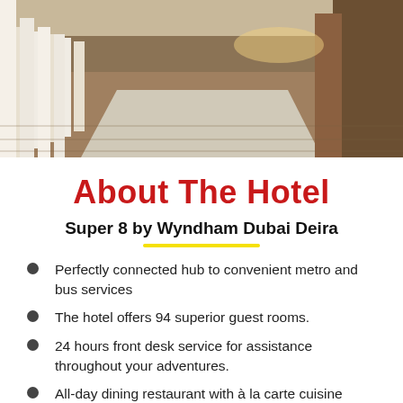[Figure (photo): Hotel lobby/hallway interior with white walls, wooden floor, and a large light-colored rug, viewed in perspective.]
About The Hotel
Super 8 by Wyndham Dubai Deira
Perfectly connected hub to convenient metro and bus services
The hotel offers 94 superior guest rooms.
24 hours front desk service for assistance throughout your adventures.
All-day dining restaurant with à la carte cuisine
Complimentary WIFI so you can stay connected as you journey onward.